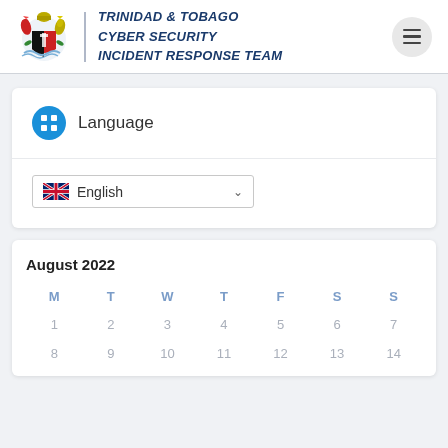TRINIDAD & TOBAGO CYBER SECURITY INCIDENT RESPONSE TEAM
Language
English
August 2022
| M | T | W | T | F | S | S |
| --- | --- | --- | --- | --- | --- | --- |
| 1 | 2 | 3 | 4 | 5 | 6 | 7 |
| 8 | 9 | 10 | 11 | 12 | 13 | 14 |